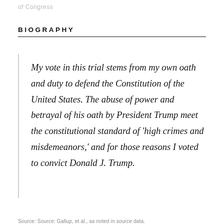of Congress
BIOGRAPHY
My vote in this trial stems from my own oath and duty to defend the Constitution of the United States. The abuse of power and betrayal of his oath by President Trump meet the constitutional standard of 'high crimes and misdemeanors,' and for those reasons I voted to convict Donald J. Trump.
Source: Source: Gallup, et al., as noted in source data.